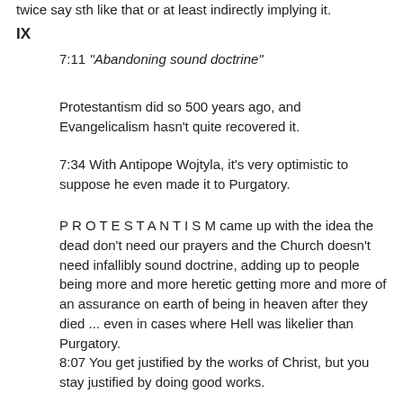twice say sth like that or at least indirectly implying it.
IX
7:11 "Abandoning sound doctrine"
Protestantism did so 500 years ago, and Evangelicalism hasn't quite recovered it.
7:34 With Antipope Wojtyla, it's very optimistic to suppose he even made it to Purgatory.
P R O T E S T A N T I S M came up with the idea the dead don't need our prayers and the Church doesn't need infallibly sound doctrine, adding up to people being more and more heretic getting more and more of an assurance on earth of being in heaven after they died ... even in cases where Hell was likelier than Purgatory.
8:07 You get justified by the works of Christ, but you stay justified by doing good works.